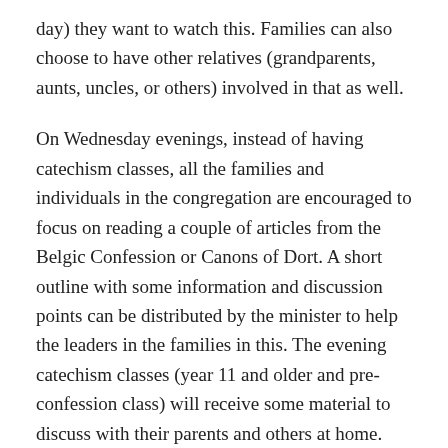day) they want to watch this. Families can also choose to have other relatives (grandparents, aunts, uncles, or others) involved in that as well.
On Wednesday evenings, instead of having catechism classes, all the families and individuals in the congregation are encouraged to focus on reading a couple of articles from the Belgic Confession or Canons of Dort. A short outline with some information and discussion points can be distributed by the minister to help the leaders in the families in this. The evening catechism classes (year 11 and older and pre-confession class) will receive some material to discuss with their parents and others at home.
For other evenings families are encouraged to spend this time together and create a relaxed interaction between parents and children. This can also be used for families or